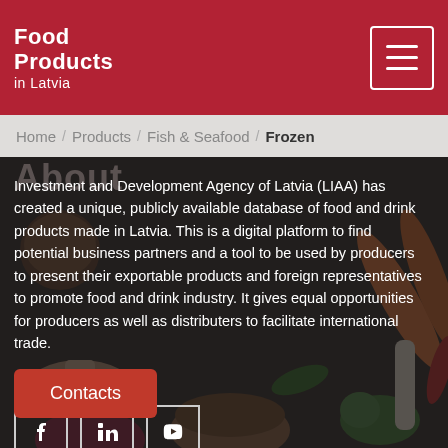Food Products in Latvia
Home / Products / Fish & Seafood / Frozen
Investment and Development Agency of Latvia (LIAA) has created a unique, publicly available database of food and drink products made in Latvia. This is a digital platform to find potential business partners and a tool to be used by producers to present their exportable products and foreign representatives to promote food and drink industry. It gives equal opportunities for producers as well as distributers to facilitate international trade.
Follow us
[Figure (infographic): Social media icons: Facebook, LinkedIn, YouTube]
Contacts